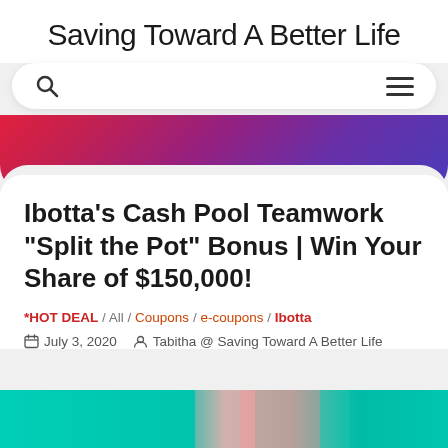Saving Toward A Better Life
Ibotta’s Cash Pool Teamwork “Split the Pot” Bonus | Win Your Share of $150,000!
*HOT DEAL / All / Coupons / e-coupons / Ibotta
July 3, 2020   Tabitha @ Saving Toward A Better Life
[Figure (photo): Colorful teal and pink tiled image at the bottom of the page]